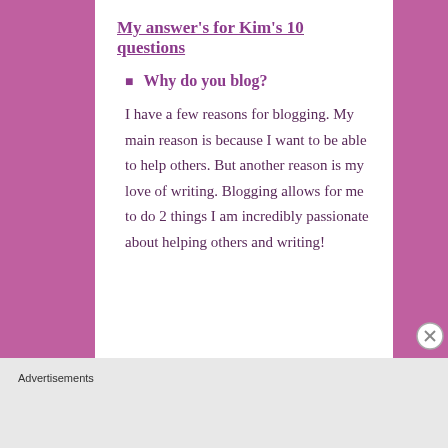My answer's for Kim's 10 questions
Why do you blog?
I have a few reasons for blogging. My main reason is because I want to be able to help others. But another reason is my love of writing. Blogging allows for me to do 2 things I am incredibly passionate about helping others and writing!
Advertisements